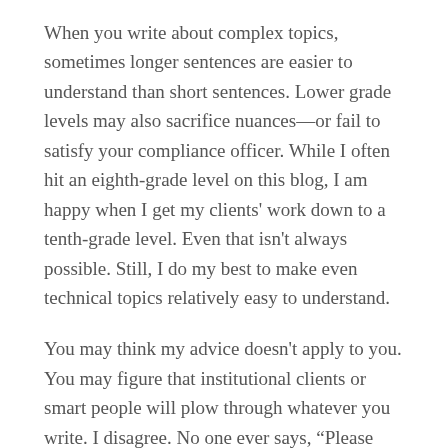When you write about complex topics, sometimes longer sentences are easier to understand than short sentences. Lower grade levels may also sacrifice nuances—or fail to satisfy your compliance officer. While I often hit an eighth-grade level on this blog, I am happy when I get my clients' work down to a tenth-grade level. Even that isn't always possible. Still, I do my best to make even technical topics relatively easy to understand.
You may think my advice doesn't apply to you. You may figure that institutional clients or smart people will plow through whatever you write. I disagree. No one ever says, “Please rewrite this in a hard-to-understand style.”